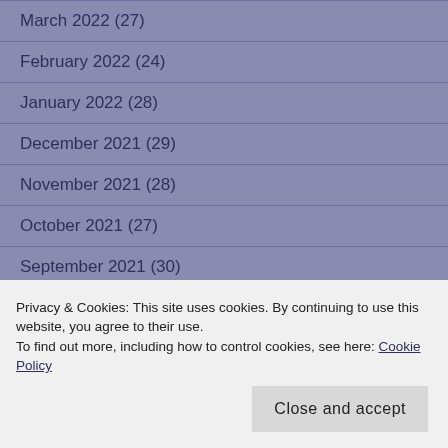March 2022 (27)
February 2022 (24)
January 2022 (28)
December 2021 (29)
November 2021 (28)
October 2021 (27)
September 2021 (30)
August 2021 (29)
Privacy & Cookies: This site uses cookies. By continuing to use this website, you agree to their use.
To find out more, including how to control cookies, see here: Cookie Policy
Close and accept
March 2021 (29)